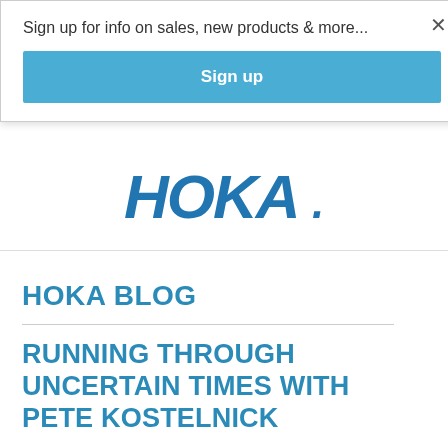Sign up for info on sales, new products & more...
Sign up
[Figure (logo): HOKA brand logo in bold blue italic letters]
HOKA BLOG
RUNNING THROUGH UNCERTAIN TIMES WITH PETE KOSTELNICK
April 14, 2020